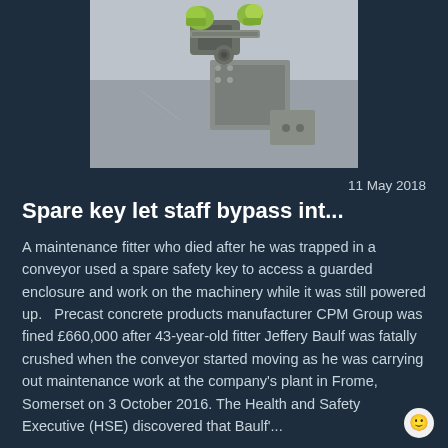[Figure (photo): Close-up photo of a mechanical key lock mechanism with yellow/green components on machinery, against a grey wall background.]
11 May 2018
Spare key let staff bypass int...
A maintenance fitter who died after he was trapped in a conveyor used a spare safety key to access a guarded enclosure and work on the machinery while it was still powered up.   Precast concrete products manufacturer CPM Group was fined £660,000 after 43-year-old fitter Jeffery Baulf was fatally crushed when the conveyor started moving as he was carrying out maintenance work at the company's plant in Frome, Somerset on 3 October 2016. The Health and Safety Executive (HSE) discovered that Baulf'...